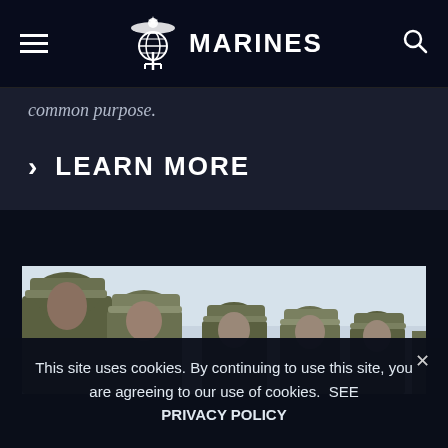MARINES
common purpose.
> LEARN MORE
[Figure (photo): Row of US Marines in camouflage uniforms and covers (hats) standing at attention in profile view against a pale sky background]
This site uses cookies. By continuing to use this site, you are agreeing to our use of cookies.  SEE PRIVACY POLICY